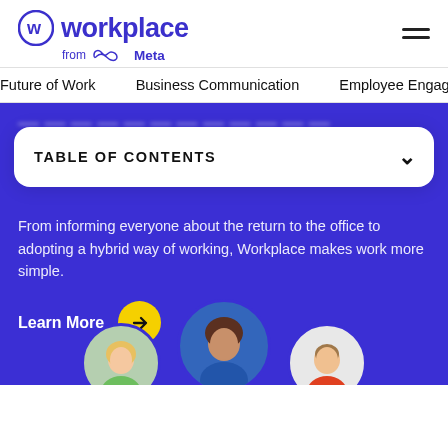[Figure (logo): Workplace from Meta logo — circular W icon in indigo/purple, text 'workplace' in bold indigo, 'from Meta' with Meta infinity logo below]
Future of Work   Business Communication   Employee Engage
[Figure (screenshot): Purple hero banner with Table of Contents dropdown box overlaid. Text below reads: 'From informing everyone about the return to the office to adopting a hybrid way of working, Workplace makes work more simple.' with 'Learn More' button and arrow. Three circular portrait photos at bottom.]